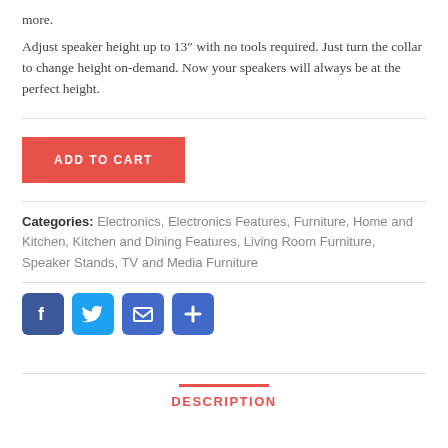more.
Adjust speaker height up to 13″ with no tools required. Just turn the collar to change height on-demand. Now your speakers will always be at the perfect height.
ADD TO CART
Categories: Electronics, Electronics Features, Furniture, Home and Kitchen, Kitchen and Dining Features, Living Room Furniture, Speaker Stands, TV and Media Furniture
[Figure (infographic): Four social share icons: Facebook (blue), Twitter (light blue), Email (blue envelope), Share/Plus (blue plus sign)]
DESCRIPTION